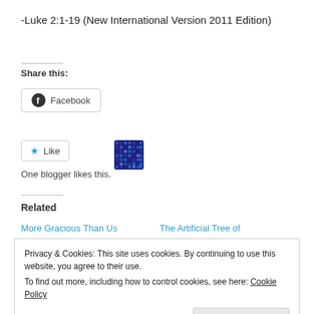-Luke 2:1-19 (New International Version 2011 Edition)
Share this:
[Figure (other): Facebook share button with Facebook logo icon]
[Figure (other): Like button with star icon and avatar/profile image]
One blogger likes this.
Related
More Gracious Than Us   The Artificial Tree of
Privacy & Cookies: This site uses cookies. By continuing to use this website, you agree to their use. To find out more, including how to control cookies, see here: Cookie Policy
Close and accept